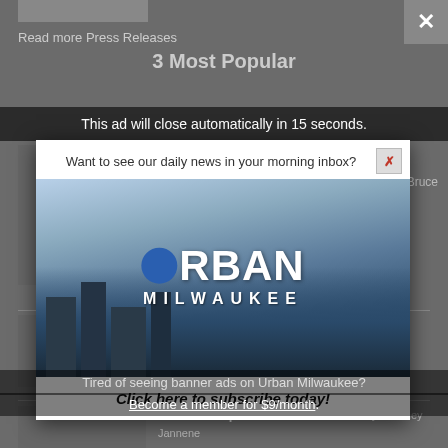Read more Press Releases
3 Most Popular
This ad will close automatically in 15 seconds.
[Figure (screenshot): Urban Milwaukee advertisement modal with city skyline photo and Urban Milwaukee logo]
Click here to subscribe today!
Tired of seeing banner ads on Urban Milwaukee?
Become a member for $9/month.
…ns Reshape Wisconsin Avenue by Jeramey Jannene